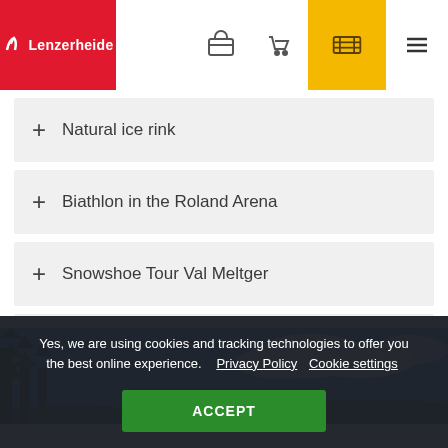Lenzerheide
Natural ice rink
Biathlon in the Roland Arena
Snowshoe Tour Val Meltger
Ski lift Lantsch/Lenz
[Figure (photo): Mountain landscape with trees and blue sky with clouds]
Yes, we are using cookies and tracking technologies to offer you the best online experience. Privacy Policy Cookie settings ACCEPT